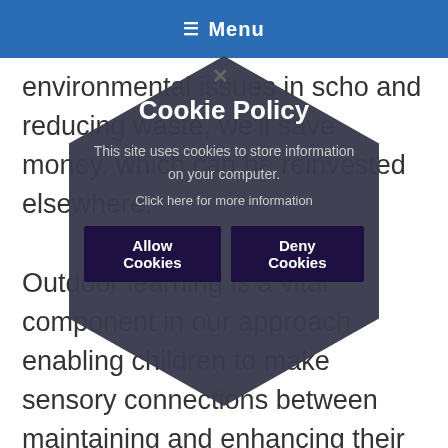Menu
environmental issues in scho and reducing waste, we'll save money, which can be reinvested elsewhere.

Outdoor learning is a vital component in our approach enabling children to make sensory connections between maintaining and enhancing their environment.

Our children take part in weekly, termly and yearly activities that help them form a bond with the environment, and their contribution and actions so raise their understanding. Eco-Schools can fit into virtually all aspects of the curriculum and help to make learning, both inside and outside the classroom, fun and engaging.
[Figure (screenshot): Cookie policy modal overlay on hexagon shape with title 'Cookie Policy', description text, info link, and two buttons: Allow Cookies and Deny Cookies]